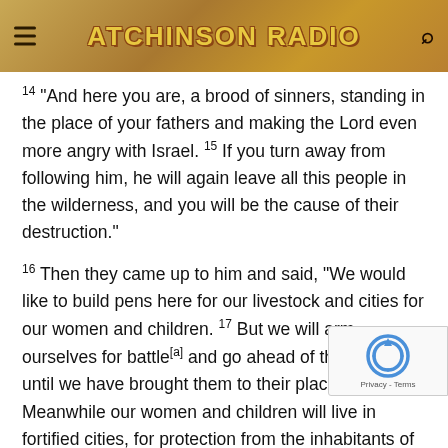Atchinson Radio
14 “And here you are, a brood of sinners, standing in the place of your fathers and making the Lord even more angry with Israel. 15 If you turn away from following him, he will again leave all this people in the wilderness, and you will be the cause of their destruction.”
16 Then they came up to him and said, “We would like to build pens here for our livestock and cities for our women and children. 17 But we will arm ourselves for battle[a] and go ahead of the Israelites until we have brought them to their place. Meanwhile our women and children will live in fortified cities, for protection from the inhabitants of the land. 18 We will not return to our homes until each of the Israelites has received their inheritance. 19 We receive any inheritance with them on the other sid